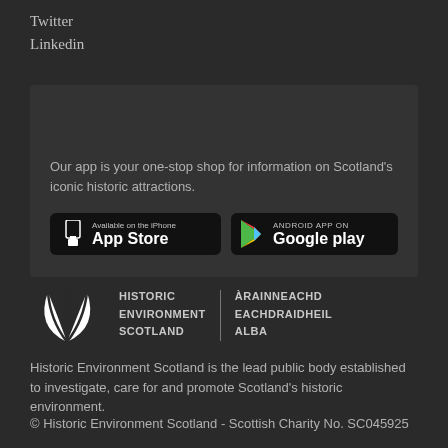Twitter
Linkedin
VISITOR APP
Our app is your one-stop shop for information on Scotland's iconic historic attractions.
[Figure (screenshot): App Store and Google Play download buttons]
[Figure (logo): Historic Environment Scotland / Àrainneachd Eachdraidheil Alba logo with fan/shell icon]
Historic Environment Scotland is the lead public body established to investigate, care for and promote Scotland's historic environment.
© Historic Environment Scotland - Scottish Charity No. SC045925